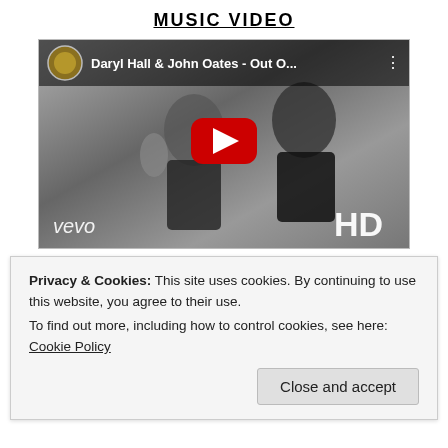MUSIC VIDEO
[Figure (screenshot): YouTube thumbnail showing Daryl Hall & John Oates - Out O... music video with Vevo logo, HD badge, and YouTube play button overlay. Black and white image of two performers.]
[Figure (other): Horizontal gradient bar from blue (left) to mauve/pink (right)]
Privacy & Cookies: This site uses cookies. By continuing to use this website, you agree to their use.
To find out more, including how to control cookies, see here:
Cookie Policy
Close and accept